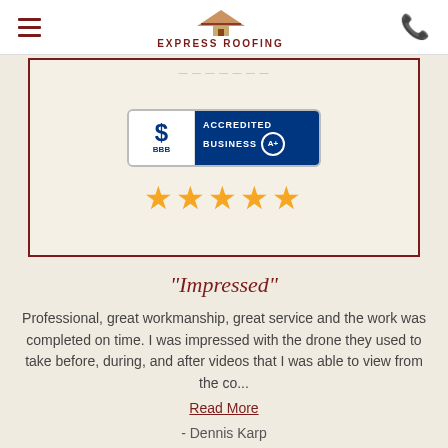EXPRESS ROOFING
[Figure (logo): BBB Accredited Business A+ badge with 5 gold stars below]
"Impressed"
Professional, great workmanship, great service and the work was completed on time. I was impressed with the drone they used to take before, during, and after videos that I was able to view from the co...
Read More
- Dennis Karp